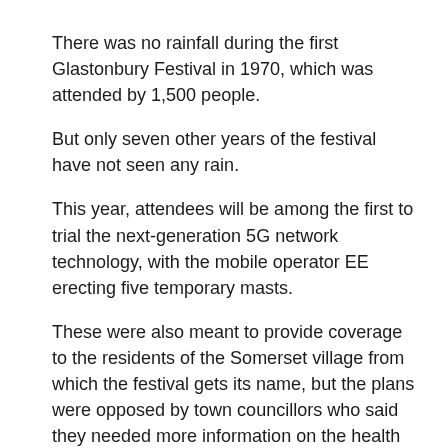There was no rainfall during the first Glastonbury Festival in 1970, which was attended by 1,500 people.
But only seven other years of the festival have not seen any rain.
This year, attendees will be among the first to trial the next-generation 5G network technology, with the mobile operator EE erecting five temporary masts.
These were also meant to provide coverage to the residents of the Somerset village from which the festival gets its name, but the plans were opposed by town councillors who said they needed more information on the health effects on residents.
Villagers had raised concerns about the safety of the 5G technology following claims it poses a hazard to health and the environment due to the higher radio frequency.